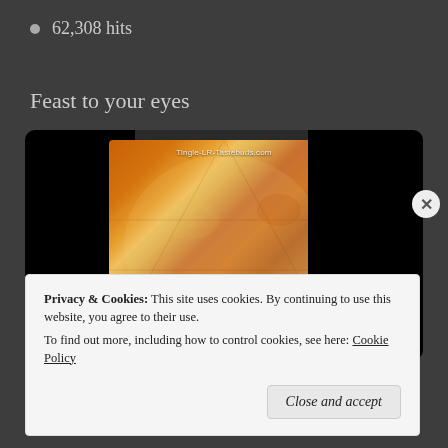62,308 hits
Feast to your eyes
[Figure (photo): Photo of a pizza with melted cheese, shown in a dark slideshow/gallery widget. Watermark text reads 'Tingle-LR-Tastebuds.com'. Black bars on left and right sides of the image frame.]
Privacy & Cookies: This site uses cookies. By continuing to use this website, you agree to their use.
To find out more, including how to control cookies, see here: Cookie Policy
Close and accept